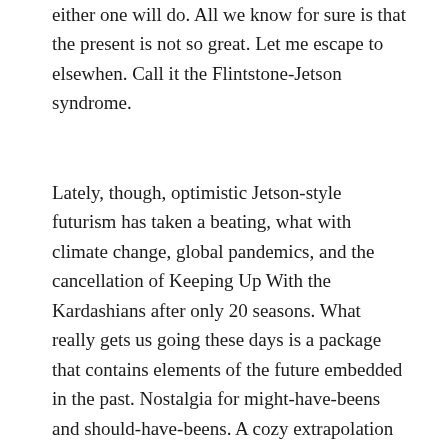either one will do. All we know for sure is that the present is not so great. Let me escape to elsewhen. Call it the Flintstone-Jetson syndrome.
Lately, though, optimistic Jetson-style futurism has taken a beating, what with climate change, global pandemics, and the cancellation of Keeping Up With the Kardashians after only 20 seasons. What really gets us going these days is a package that contains elements of the future embedded in the past. Nostalgia for might-have-beens and should-have-beens. A cozy extrapolation down a few avenues rather than the cluster chaos madness that beckons us now.